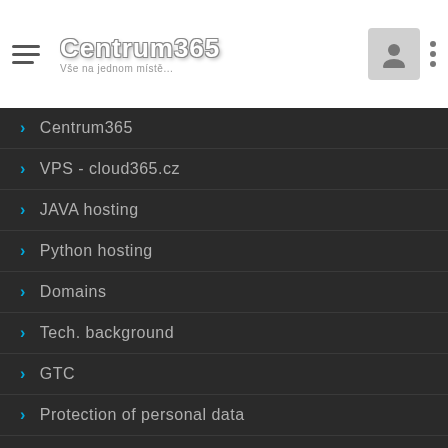[Figure (logo): Centrum365 logo with hamburger menu, profile icon, and three-dot menu on white header bar]
Centrum365
VPS - cloud365.cz
JAVA hosting
Python hosting
Domains
Tech. background
GTC
Protection of personal data
Processing contract
Centrum365.cz operates: Savvy s.r.o., Cejl 91, 602 00 - Brno, IČ: 26944367, DIČ: CZ26944367
registered in the Commercial Register on 12.11. 2004, administered by the Regional Court in Brno, file no. C